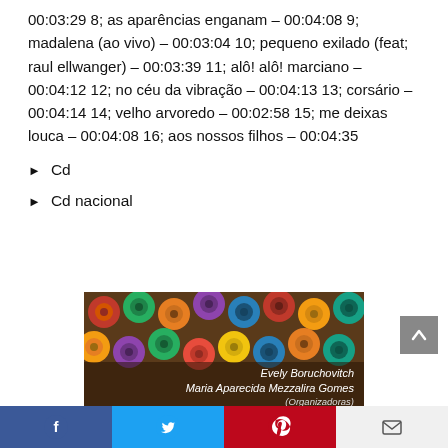00:03:29 8; as aparências enganam – 00:04:08 9; madalena (ao vivo) – 00:03:04 10; pequeno exilado (feat; raul ellwanger) – 00:03:39 11; alô! alô! marciano – 00:04:12 12; no céu da vibração – 00:04:13 13; corsário – 00:04:14 14; velho arvoredo – 00:02:58 15; me deixas louca – 00:04:08 16; aos nossos filhos – 00:04:35
Cd
Cd nacional
[Figure (illustration): Book cover with colored pencils background and text: Evely Boruchovitch, Maria Aparecida Mezzalira Gomes (Organizadoras)]
Facebook | Twitter | Pinterest | Email